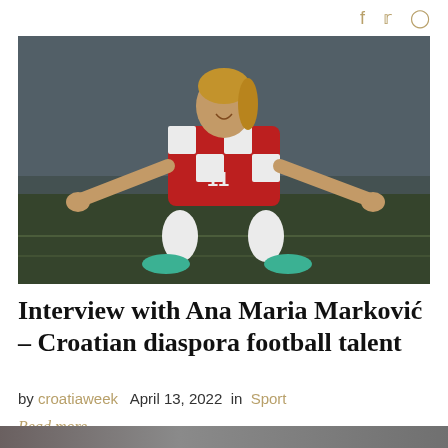f  𝕏  🔲
[Figure (photo): Female football player wearing Croatian national team jersey number 11 (red and white checkered), sitting on grass field with arms spread wide, smiling.]
Interview with Ana Maria Marković – Croatian diaspora football talent
by croatiaweek   April 13, 2022   in   Sport
Read more...